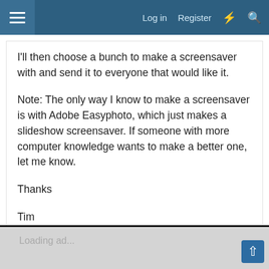Log in  Register
I'll then choose a bunch to make a screensaver with and send it to everyone that would like it.

Note: The only way I know to make a screensaver is with Adobe Easyphoto, which just makes a slideshow screensaver. If someone with more computer knowledge wants to make a better one, let me know.

Thanks

Tim
Reply